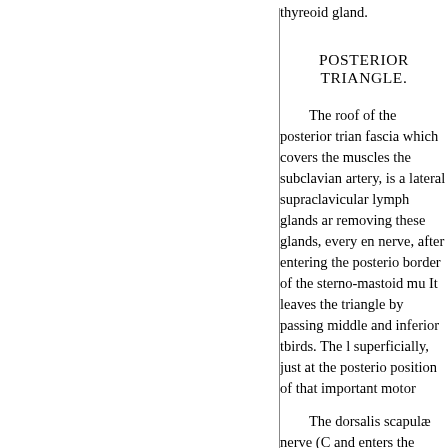thyreoid gland.
POSTERIOR TRIANGLE.
The roof of the posterior trian fascia which covers the muscles the subclavian artery, is a lateral supraclavicular lymph glands ar removing these glands, every en nerve, after entering the posterio border of the sterno-mastoid mu It leaves the triangle by passing middle and inferior thirds. The l superficially, just at the posterio position of that important motor
The dorsalis scapulæ nerve (C and enters the septum between t
The supra-scapular nerve is s a little above the posterior belly of the upper part of the sterno-m upper part of the scalenus mediu
The posterior belly of the om the posterior triangle, passes be